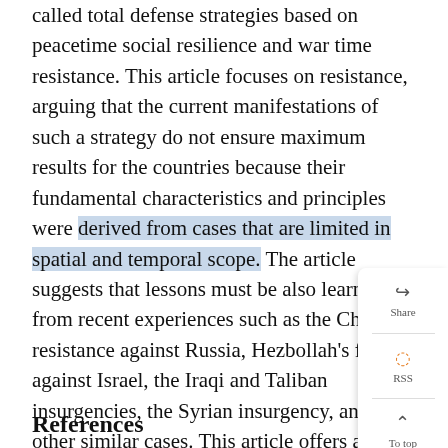called total defense strategies based on peacetime social resilience and war time resistance. This article focuses on resistance, arguing that the current manifestations of such a strategy do not ensure maximum results for the countries because their fundamental characteristics and principles were derived from cases that are limited in spatial and temporal scope. The article suggests that lessons must be also learned from recent experiences such as the Chechen resistance against Russia, Hezbollah's fight against Israel, the Iraqi and Taliban insurgencies, the Syrian insurgency, and other similar cases. This article offers a starting point for identifying such critical lessons by analyzing the First Russo-Chechen War through a research model built on the combined principles of Mao Zedong, Ernesto 'Che' Guevara, and General Vo Nguyen Giap.
References